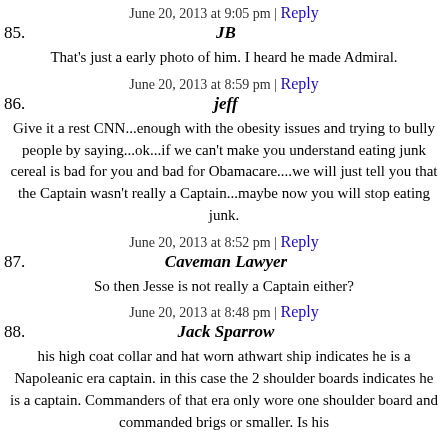June 20, 2013 at 9:05 pm | Reply
85. JB
That's just a early photo of him. I heard he made Admiral.
June 20, 2013 at 8:59 pm | Reply
86. jeff
Give it a rest CNN...enough with the obesity issues and trying to bully people by saying...ok...if we can't make you understand eating junk cereal is bad for you and bad for Obamacare....we will just tell you that the Captain wasn't really a Captain...maybe now you will stop eating junk.
June 20, 2013 at 8:52 pm | Reply
87. Caveman Lawyer
So then Jesse is not really a Captain either?
June 20, 2013 at 8:48 pm | Reply
88. Jack Sparrow
his high coat collar and hat worn athwart ship indicates he is a Napoleanic era captain. in this case the 2 shoulder boards indicates he is a captain. Commanders of that era only wore one shoulder board and commanded brigs or smaller. Is his